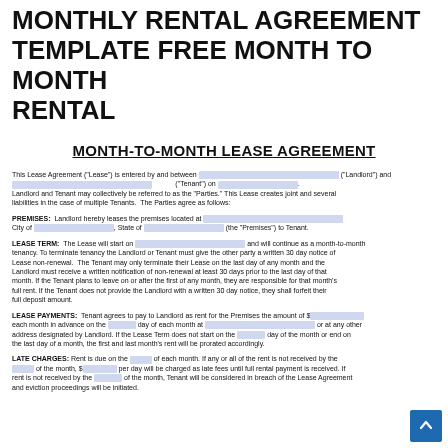MONTHLY RENTAL AGREEMENT TEMPLATE FREE MONTH TO MONTH RENTAL
MONTH-TO-MONTH LEASE AGREEMENT
This Lease Agreement ("Lease") is entered by and between [blank] ("Landlord") and [blank] ("Tenant") on [blank]. Landlord and Tenant may collectively be referred to as the "Parties." This Lease creates joint and several liabilities in the case of multiple Tenants. The Parties agree as follows:
PREMISES: Landlord hereby leases the premises located at [blank] City of [blank], State of [blank] (the "Premises") to Tenant.
LEASE TERM: The Lease will start on [blank] and will continue as a month-to-month tenancy. To terminate tenancy the Landlord or Tenant must give the other party a written 30 day notice of Lease non-renewal. The Tenant may only terminate their Lease on the last day of any month and the Landlord must receive a written notification of non-renewal at least 30 days prior to the last day of that month. If the Tenant plans to leave on or after the first of any month, they are responsible for that month's full rent. If the Tenant does not provide the Landlord with a written 30 day notice, they shall forfeit their full deposit amount.
LEASE PAYMENTS: Tenant agrees to pay to Landlord as rent for the Premises the amount of $[blank] each month in advance on the [blank] day of each month at [blank] or at any other address designated by Landlord. If the Lease Term does not start on the [blank] day of the month or end on the last day of a month, the first and last month's rent will be prorated accordingly.
LATE CHARGES: Rent is due on the [blank] of each month. If any or all of the rent is not received by the [blank] of the month, $[blank] per day will be charged as late fees until full rental payment is received. If rent is not received by the [blank] of the month, Tenant will be considered in breach of the Lease Agreement and eviction proceedings will be initiated.